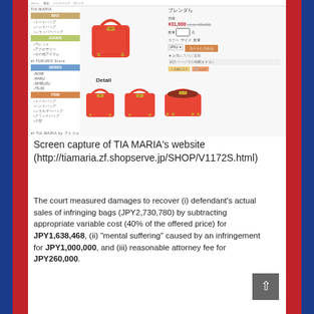[Figure (screenshot): Screen capture of TIA MARIA's website showing a product page for a red Birkin-style bag (ブレンダら) priced at ¥31,900, with sidebar navigation categories in Japanese including Bag, Goods, and item subcategories. Multiple views of the red bag shown at bottom.]
Screen capture of TIA MARIA's website (http://tiamaria.zf.shopserve.jp/SHOP/V1172S.html)
The court measured damages to recover (i) defendant's actual sales of infringing bags (JPY2,730,780) by subtracting appropriate variable cost (40% of the offered price) for JPY1,638,468, (ii) "mental suffering" caused by an infringement for JPY1,000,000, and (iii) reasonable attorney fee for JPY260,000.